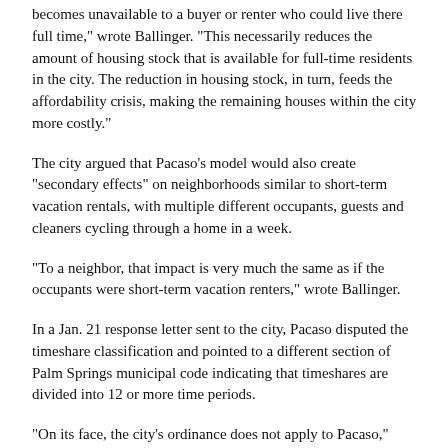becomes unavailable to a buyer or renter who could live there full time," wrote Ballinger. "This necessarily reduces the amount of housing stock that is available for full-time residents in the city. The reduction in housing stock, in turn, feeds the affordability crisis, making the remaining houses within the city more costly."
The city argued that Pacaso's model would also create "secondary effects" on neighborhoods similar to short-term vacation rentals, with multiple different occupants, guests and cleaners cycling through a home in a week.
"To a neighbor, that impact is very much the same as if the occupants were short-term vacation renters," wrote Ballinger.
In a Jan. 21 response letter sent to the city, Pacaso disputed the timeshare classification and pointed to a different section of Palm Springs municipal code indicating that timeshares are divided into 12 or more time periods.
"On its face, the city's ordinance does not apply to Pacaso," wrote Pacaso attorney  Bruce Bauer in the letter. "The ordinance only applies to entitlement to use or occupy any real property or portion thereof has been divided into twelve (12) or more time periods of such rights or entitlement. As pointed out